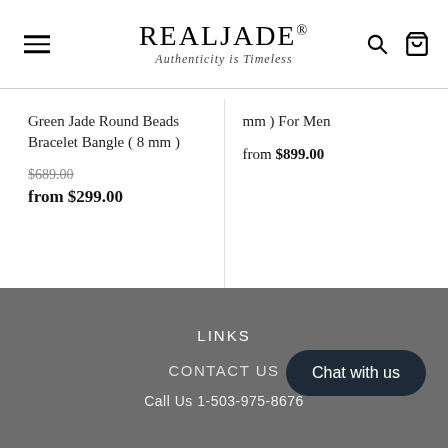REALJADE® Authenticity is Timeless
Green Jade Round Beads Bracelet Bangle ( 8 mm ) $689.00 from $299.00
mm ) For Men from $899.00
LINKS CONTACT US Call Us 1-503-975-8676